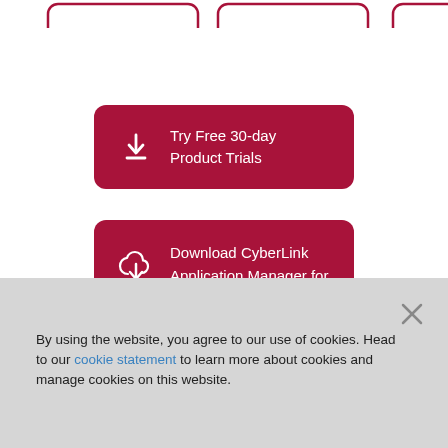[Figure (other): Partial outlines of rounded rectangle buttons at the top of the page, clipped — showing dark red/crimson borders]
Try Free 30-day Product Trials
Download CyberLink Application Manager for Your 365 Subscription
By using the website, you agree to our use of cookies. Head to our cookie statement to learn more about cookies and manage cookies on this website.